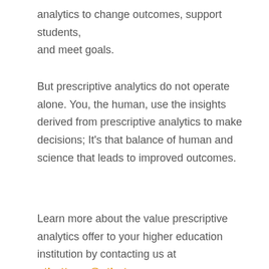analytics to change outcomes, support students, and meet goals.
But prescriptive analytics do not operate alone. You, the human, use the insights derived from prescriptive analytics to make decisions; It's that balance of human and science that leads to improved outcomes.
Learn more about the value prescriptive analytics offer to your higher education institution by contacting us at othotteam@othot.com.